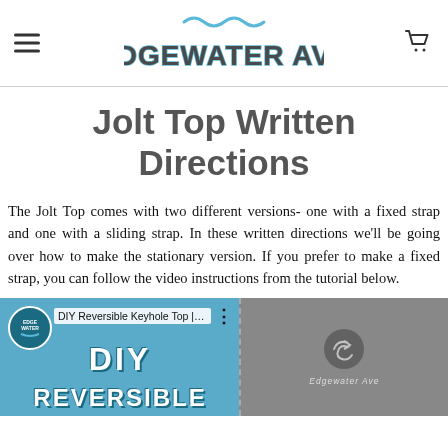Edgewater Ave — navigation header with hamburger menu, logo, and cart icon
Jolt Top Written Directions
The Jolt Top comes with two different versions- one with a fixed strap and one with a sliding strap. In these written directions we'll be going over how to make the stationary version. If you prefer to make a fixed strap, you can follow the video instructions from the tutorial below.
[Figure (screenshot): YouTube video thumbnail for 'DIY Reversible Keyhole Top | Jolt Top | ...' with Edgewater Ave channel icon on the left (blue background with 'DIY' and 'REVERSIBLE' text) and a replay/video icon on the right (grey background with Edgewater Ave logo)]